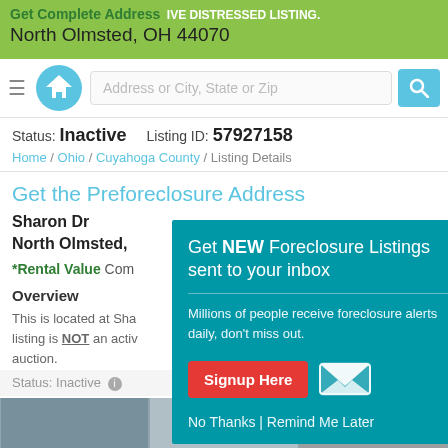Get Complete Address | EXCLUSIVE DISTRESSED LISTING. North Olmsted, OH 44070
[Figure (screenshot): Website navigation bar with hamburger menu, house logo, address search input, and search button]
Status: Inactive   Listing ID: 57927158
Home / Ohio / Cuyahoga County / Listing Details
Get the Preforeclosure Address
Sharon Dr
North Olmsted,
*Rental Value Com
Overview
This is located at Sha listing is NOT an acti auction.
Save money on this
Status: Inactive  Listing ID: 57927158
[Figure (screenshot): Photo strip of property images at bottom of page]
Get NEW Foreclosure Listings sent to your inbox
Millions of people receive foreclosure alerts daily, don't miss out.
Signup Here
No Thanks | Remind Me Later